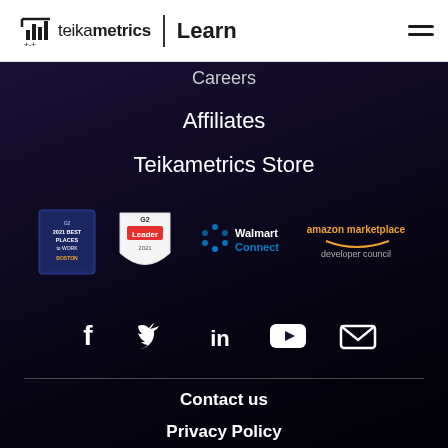[Figure (logo): Teikametrics logo with bar chart icon and text 'teikametrics | Learn' and hamburger menu icon]
Careers
Affiliates
Teikametrics Store
[Figure (logo): Four partner/award badges: 2021 Best Places to Work Boston, G2 Leader 2021, Walmart Connect, Amazon Marketplace Developer Council]
[Figure (infographic): Social media icons: Facebook, Twitter, LinkedIn, YouTube, Email]
Contact us
Privacy Policy